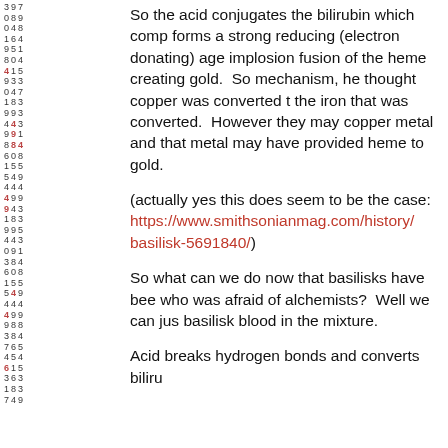So the acid conjugates the bilirubin which comp forms a strong reducing (electron donating) age implosion fusion of the heme creating gold.  So mechanism, he thought copper was converted t the iron that was converted.  However they may copper metal and that metal may have provided heme to gold.
(actually yes this does seem to be the case: https://www.smithsonianmag.com/history/ basilisk-5691840/)
So what can we do now that basilisks have bee who was afraid of alchemists?  Well we can jus basilisk blood in the mixture.
Acid breaks hydrogen bonds and converts biliru